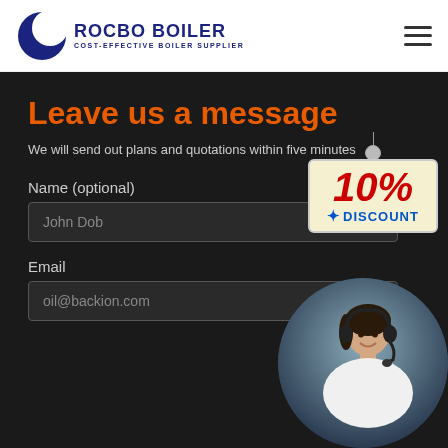[Figure (logo): Rocbo Boiler logo with crescent moon icon and text 'ROCBO BOILER / COST-EFFECTIVE BOILER SUPPLIER']
[Figure (infographic): Hamburger menu icon (three horizontal lines)]
Leave us a message
We will send out plans and quotations within five minutes
[Figure (infographic): 10% DISCOUNT badge hanging sign with red percentage text and blue DISCOUNT text on cream background]
Name (optional)
John Dob
Email
oil@backion.com
[Figure (photo): Circular photo of a smiling woman wearing a headset, customer service representative]